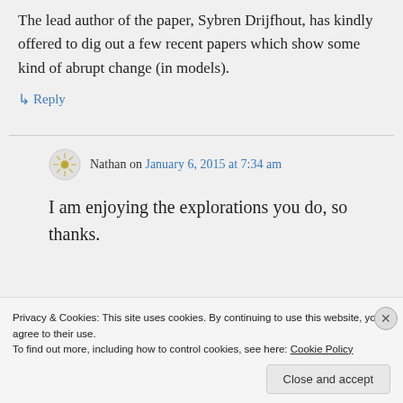The lead author of the paper, Sybren Drijfhout, has kindly offered to dig out a few recent papers which show some kind of abrupt change (in models).
↳ Reply
Nathan on January 6, 2015 at 7:34 am
I am enjoying the explorations you do, so thanks.
Privacy & Cookies: This site uses cookies. By continuing to use this website, you agree to their use.
To find out more, including how to control cookies, see here: Cookie Policy
Close and accept